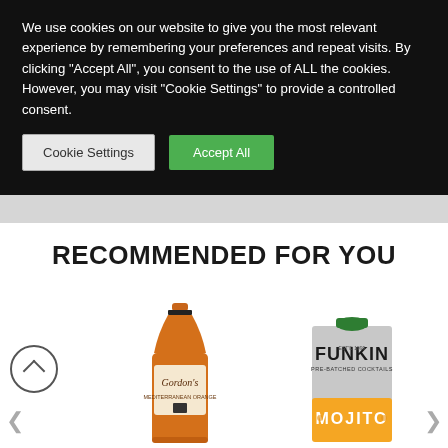We use cookies on our website to give you the most relevant experience by remembering your preferences and repeat visits. By clicking "Accept All", you consent to the use of ALL the cookies. However, you may visit "Cookie Settings" to provide a controlled consent.
[Figure (screenshot): Cookie consent banner with 'Cookie Settings' and 'Accept All' buttons on a dark background, followed by a product recommendation section showing Gordon's Mediterranean Orange gin bottle and Funkin Mojito cocktail carton]
RECOMMENDED FOR YOU